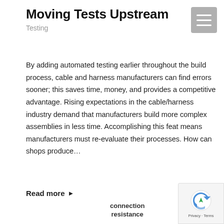Moving Tests Upstream
Testing
By adding automated testing earlier throughout the build process, cable and harness manufacturers can find errors sooner; this saves time, money, and provides a competitive advantage. Rising expectations in the cable/harness industry demand that manufacturers build more complex assemblies in less time. Accomplishing this feat means manufacturers must re-evaluate their processes. How can shops produce…
Read more ▶
connection resistance
LV insulation resistance